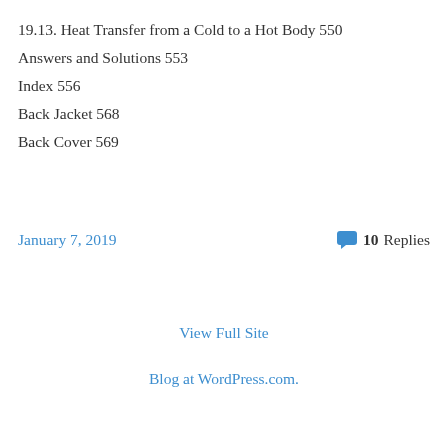19.13. Heat Transfer from a Cold to a Hot Body 550
Answers and Solutions 553
Index 556
Back Jacket 568
Back Cover 569
January 7, 2019
10 Replies
View Full Site
Blog at WordPress.com.